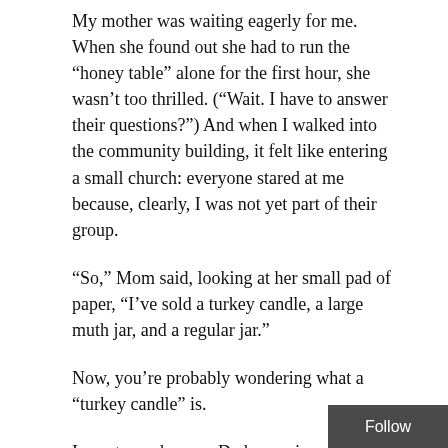My mother was waiting eagerly for me. When she found out she had to run the “honey table” alone for the first hour, she wasn’t too thrilled. (“Wait. I have to answer their questions?”) And when I walked into the community building, it felt like entering a small church: everyone stared at me because, clearly, I was not yet part of their group.
“So,” Mom said, looking at her small pad of paper, “I’ve sold a turkey candle, a large muth jar, and a regular jar.”
Now, you’re probably wondering what a “turkey candle” is.
I was too, when my Dad came joyously into the living room a few weeks ago, a small yellowish thing cupped in his hands.